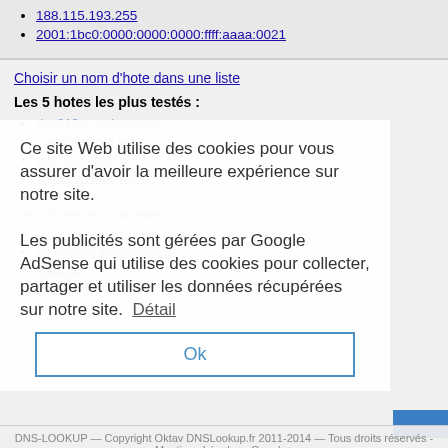188.115.193.255
2001:1bc0:0000:0000:0000:ffff:aaaa:0021
Choisir un nom d'hote dans une liste
Les 5 hotes les plus testés :
dns213.c.register.com.
contact.gandi.net.
(third item partially obscured)
www.youtube.com.
(fifth item partially obscured)
Les n hotes les plus testés :
0.a.2.ip6.arpa.
anycast30.irondns.net.
ydns.lu.
ns.nic.do.
Ce site Web utilise des cookies pour vous assurer d'avoir la meilleure expérience sur notre site.
Les publicités sont gérées par Google AdSense qui utilise des cookies pour collecter, partager et utiliser les données récupérées sur notre site. Détail
Ok
DNS-LOOKUP — Copyright Oktav DNSLookup.fr 2011-2014 — Tous droits réservés - Mentions Légales - Google+